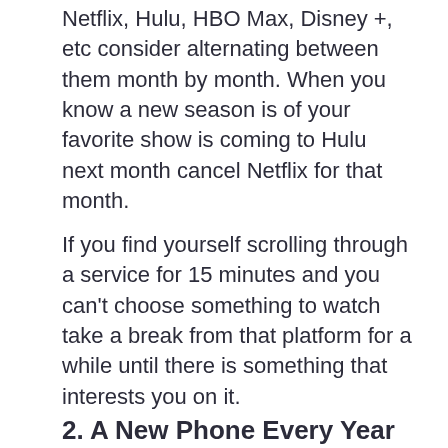Netflix, Hulu, HBO Max, Disney +, etc consider alternating between them month by month. When you know a new season is of your favorite show is coming to Hulu next month cancel Netflix for that month.
If you find yourself scrolling through a service for 15 minutes and you can't choose something to watch take a break from that platform for a while until there is something that interests you on it.
2. A New Phone Every Year